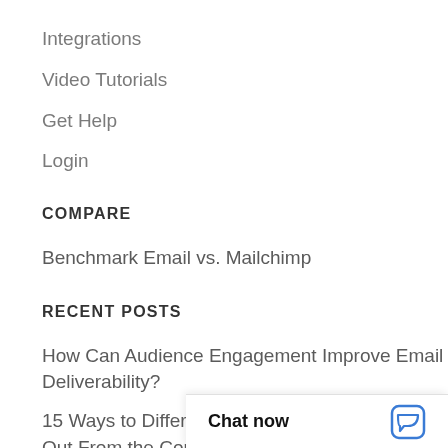Integrations
Video Tutorials
Get Help
Login
COMPARE
Benchmark Email vs. Mailchimp
RECENT POSTS
How Can Audience Engagement Improve Email Deliverability?
15 Ways to Differentiate Your Business Out From the Competition
Chat now